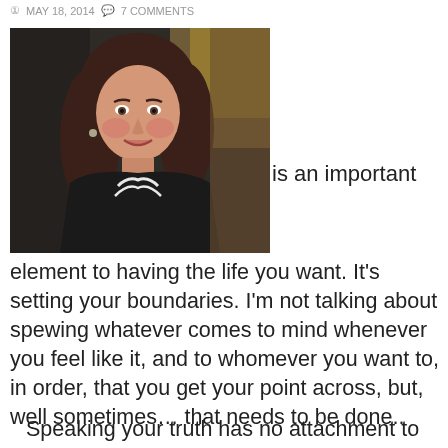MAY 18, 2014   7 COMMENTS
[Figure (photo): A woman with dark hair smiling, wearing a black top, seated in what appears to be a restaurant or bar setting]
is an important element to having the life you want. It's setting your boundaries. I'm not talking about spewing whatever comes to mind whenever you feel like it, and to whomever you want to, in order, that you get your point across, but, well sometimes… that needs to be done..
Speaking your truth has no attachment to